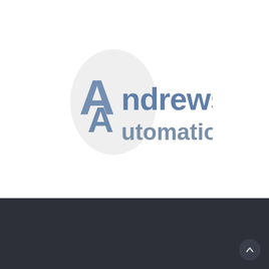[Figure (logo): Andrews Automation company logo with a stylized double-A letter mark inside a light grey oval, and the text 'Andrews Automation' in steel blue bold font]
Facebook
LinkedIn
Youtube